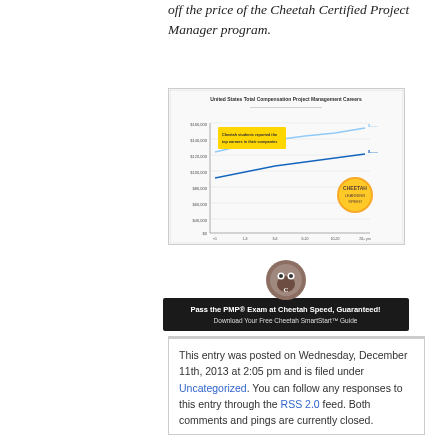off the price of the Cheetah Certified Project Manager program.
[Figure (line-chart): Line chart showing US total compensation for project management careers by years of experience, with two lines (Median and 75th percentile). Y-axis shows salary values from $0 to $160,000. X-axis shows years of experience.]
[Figure (infographic): Cheetah Learning banner: Pass the PMP Exam at Cheetah Speed, Guaranteed! Download Your Free Cheetah SmartStart Guide. Download Now button.]
This entry was posted on Wednesday, December 11th, 2013 at 2:05 pm and is filed under Uncategorized. You can follow any responses to this entry through the RSS 2.0 feed. Both comments and pings are currently closed.